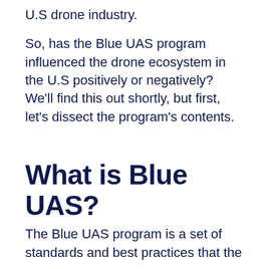U.S drone industry.
So, has the Blue UAS program influenced the drone ecosystem in the U.S positively or negatively? We’ll find this out shortly, but first, let’s dissect the program’s contents.
What is Blue UAS?
The Blue UAS program is a set of standards and best practices that the